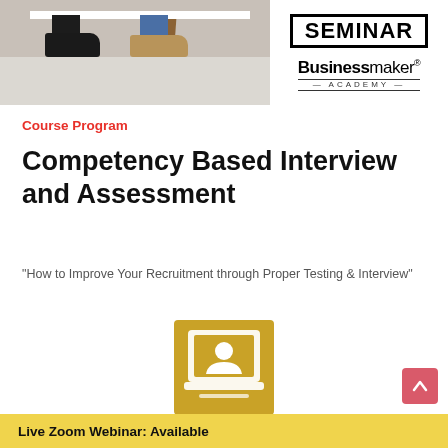[Figure (photo): Photo of two people's legs/shoes under a white table; on the right side shows 'SEMINAR' text in a box and 'Businessmaker Academy' logo]
Course Program
Competency Based Interview and Assessment
"How to Improve Your Recruitment through Proper Testing & Interview"
[Figure (illustration): Gold/yellow square icon with a white laptop and person silhouette on screen]
Live Zoom Webinar: Available